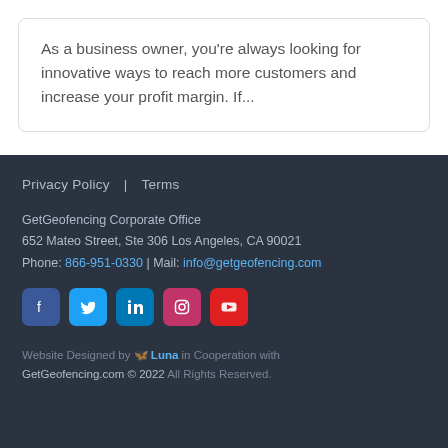As a business owner, you're always looking for innovative ways to reach more customers and increase your profit margin. If...
Privacy Policy | Terms
GetGeofencing Corporate Office
652 Mateo Street, Ste 306 Los Angeles, CA 90021
Phone: 866-951-0330 | Mail: info@getgeofencing.com
[Social icons: Facebook, Twitter, LinkedIn, Instagram, YouTube]
Website Designed by Luna in Cooperation with GetGeofencing.com © 2022 All Rights Reserved.